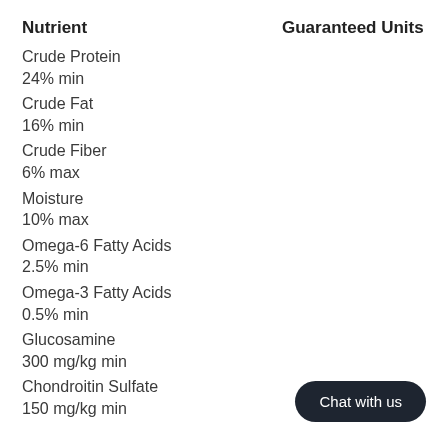| Nutrient | Guaranteed Units |
| --- | --- |
| Crude Protein |  |
| 24% min |  |
| Crude Fat |  |
| 16% min |  |
| Crude Fiber |  |
| 6% max |  |
| Moisture |  |
| 10% max |  |
| Omega-6 Fatty Acids |  |
| 2.5% min |  |
| Omega-3 Fatty Acids |  |
| 0.5% min |  |
| Glucosamine |  |
| 300 mg/kg min |  |
| Chondroitin Sulfate |  |
| 150 mg/kg min |  |
Chat with us